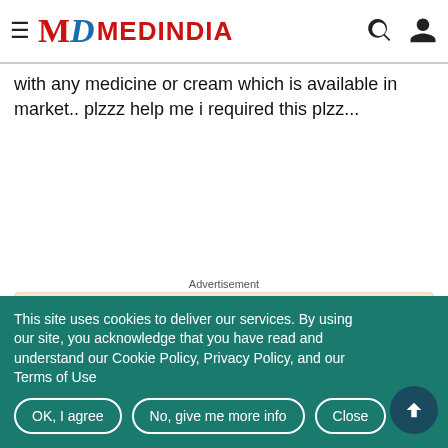MEDINDIA
with any medicine or cream which is available in market.. plzzz help me i required this plzz...
View all Comments (7)
Advertisement
Recommended Reading
Quiz on Eye
This site uses cookies to deliver our services. By using our site, you acknowledge that you have read and understand our Cookie Policy, Privacy Policy, and our Terms of Use
OK, I agree   No, give me more info   Close